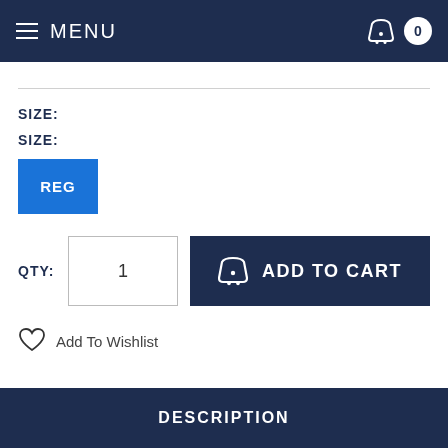MENU
SIZE:
SIZE:
REG
QTY: 1
ADD TO CART
Add To Wishlist
DESCRIPTION